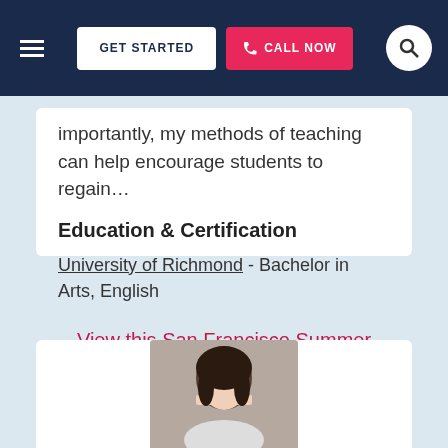GET STARTED | CALL NOW
importantly, my methods of teaching can help encourage students to regain…
Education & Certification
University of Richmond - Bachelor in Arts, English
View this San Francisco Summer Tutor ►
[Figure (photo): Headshot photo of a young woman with dark hair against a neutral background]